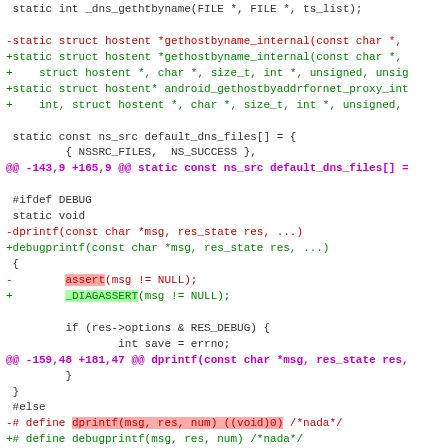Code diff showing changes to gethostbyname_internal and related functions including replacement of dprintf with debugprintf and assert with _DIAGASSERT
[Figure (screenshot): Source code diff in monospace font showing removed lines in red and added lines in green with hunk headers in purple]